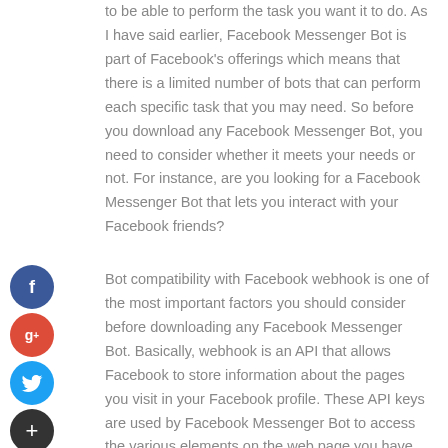to be able to perform the task you want it to do. As I have said earlier, Facebook Messenger Bot is part of Facebook's offerings which means that there is a limited number of bots that can perform each specific task that you may need. So before you download any Facebook Messenger Bot, you need to consider whether it meets your needs or not. For instance, are you looking for a Facebook Messenger Bot that lets you interact with your Facebook friends?
[Figure (other): Social media sharing icons: Facebook (blue circle with 'f'), Google+ (red circle with 'g+'), Twitter (light blue circle with bird icon), Plus/share (dark circle with '+')]
Bot compatibility with Facebook webhook is one of the most important factors you should consider before downloading any Facebook Messenger Bot. Basically, webhook is an API that allows Facebook to store information about the pages you visit in your Facebook profile. These API keys are used by Facebook Messenger Bot to access the various elements on the web page you have visited, such as the header, footer, and the body of